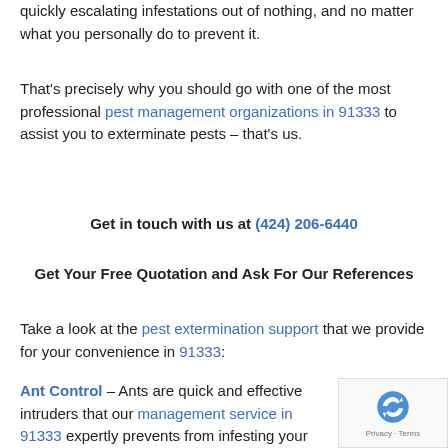quickly escalating infestations out of nothing, and no matter what you personally do to prevent it.
That's precisely why you should go with one of the most professional pest management organizations in 91333 to assist you to exterminate pests – that's us.
Get in touch with us at (424) 206-6440
Get Your Free Quotation and Ask For Our References
Take a look at the pest extermination support that we provide for your convenience in 91333:
Ant Control – Ants are quick and effective intruders that our management service in 91333 expertly prevents from infesting your property by completely getting rid of them before the scenario gets out of h...